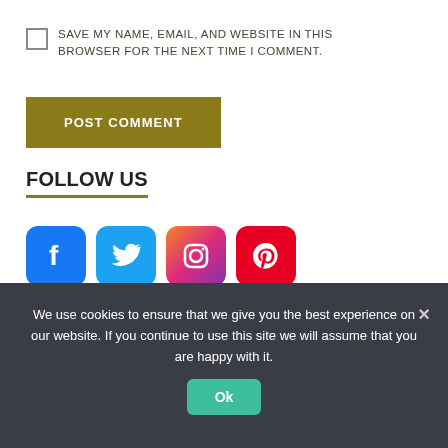SAVE MY NAME, EMAIL, AND WEBSITE IN THIS BROWSER FOR THE NEXT TIME I COMMENT.
POST COMMENT
FOLLOW US
[Figure (logo): Social media icons: Facebook (blue), Twitter (blue), Instagram (gradient pink/purple), Pinterest (red)]
We use cookies to ensure that we give you the best experience on our website. If you continue to use this site we will assume that you are happy with it.
Ok